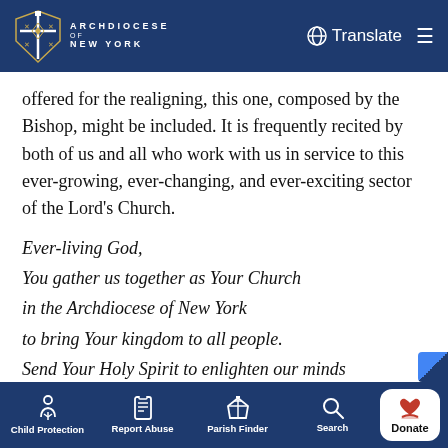ARCHDIOCESE OF NEW YORK
offered for the realigning, this one, composed by the Bishop, might be included. It is frequently recited by both of us and all who work with us in service to this ever-growing, ever-changing, and ever-exciting sector of the Lord's Church.
Ever-living God,
You gather us together as Your Church
in the Archdiocese of New York
to bring Your kingdom to all people.
Send Your Holy Spirit to enlighten our minds
and guide our actions
Child Protection  Report Abuse  Parish Finder  Search  Donate